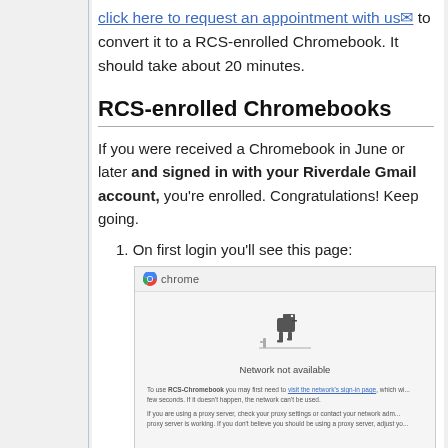click here to request an appointment with us to convert it to a RCS-enrolled Chromebook. It should take about 20 minutes.
RCS-enrolled Chromebooks
If you were received a Chromebook in June or later and signed in with your Riverdale Gmail account, you're enrolled. Congratulations! Keep going.
1. On first login you'll see this page:
[Figure (screenshot): Chrome browser screenshot showing 'Network not available' error page with Chrome dinosaur, and text about visiting the network's sign-in page and proxy settings.]